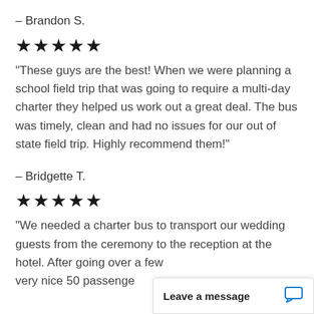– Brandon S.
[Figure (other): Five black star rating icons]
“These guys are the best! When we were planning a school field trip that was going to require a multi-day charter they helped us work out a great deal. The bus was timely, clean and had no issues for our out of state field trip. Highly recommend them!”
– Bridgette T.
[Figure (other): Five black star rating icons]
“We needed a charter bus to transport our wedding guests from the ceremony to the reception at the hotel. After going over a few very nice 50 passenge
Leave a message